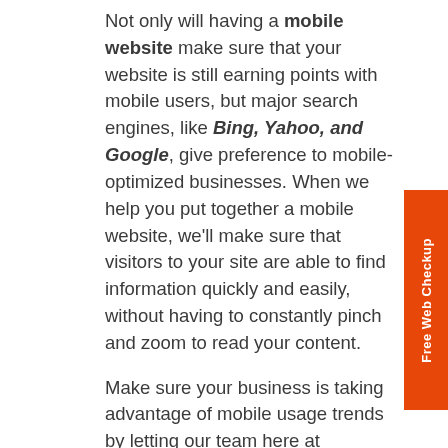Not only will having a mobile website make sure that your website is still earning points with mobile users, but major search engines, like Bing, Yahoo, and Google, give preference to mobile-optimized businesses. When we help you put together a mobile website, we'll make sure that visitors to your site are able to find information quickly and easily, without having to constantly pinch and zoom to read your content.
Make sure your business is taking advantage of mobile usage trends by letting our team here at WordJack Media ensure that your mobile website is performing like it should. Contact us today to find out more about the power of mobile and what we can do for you
Free Web Checkup